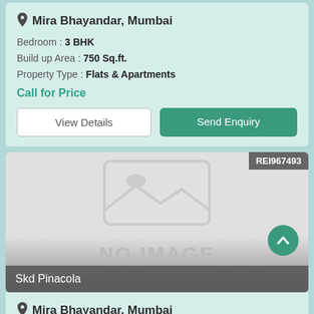Mira Bhayandar, Mumbai
Bedroom : 3 BHK
Build up Area : 750 Sq.ft.
Property Type : Flats & Apartments
Call for Price
View Details
Send Enquiry
[Figure (photo): No image placeholder with grey gradient background. Badge shows REI967493. Property name 'Skd Pinacola' shown in white text overlay at bottom.]
Mira Bhayandar, Mumbai
Bedroom : 3 BHK